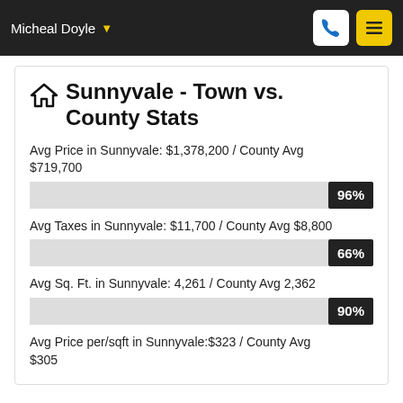Micheal Doyle
Sunnyvale - Town vs. County Stats
Avg Price in Sunnyvale: $1,378,200 / County Avg $719,700
[Figure (bar-chart): Avg Price bar]
Avg Taxes in Sunnyvale: $11,700 / County Avg $8,800
[Figure (bar-chart): Avg Taxes bar]
Avg Sq. Ft. in Sunnyvale: 4,261 / County Avg 2,362
[Figure (bar-chart): Avg Sq Ft bar]
Avg Price per/sqft in Sunnyvale:$323 / County Avg $305